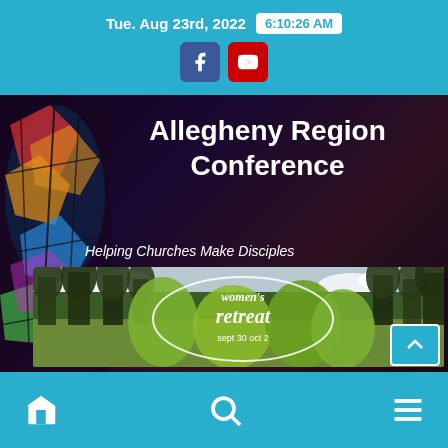Tue. Aug 23rd, 2022   6:10:26 AM
Allegheny Region Conference
Helping Churches Make Disciples
[Figure (photo): Women's Retreat promotional banner showing trees and forest landscape with text 'women's retreat sept 30 oct 2' in a circular overlay]
Navigation bar with home, search, and menu icons